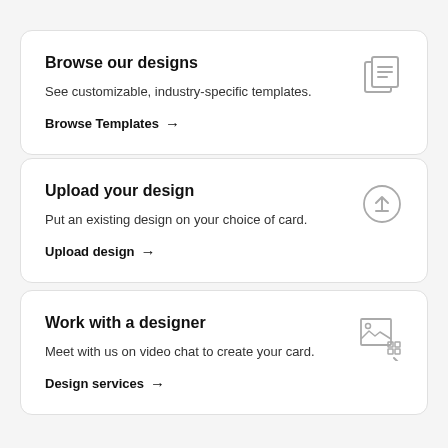[Figure (infographic): Card 1: Browse our designs. See customizable, industry-specific templates. Browse Templates arrow. Icon: document/templates icon top right.]
[Figure (infographic): Card 2: Upload your design. Put an existing design on your choice of card. Upload design arrow. Icon: upload circle icon top right.]
[Figure (infographic): Card 3: Work with a designer. Meet with us on video chat to create your card. Design services arrow. Icon: design/selection tool icon top right.]